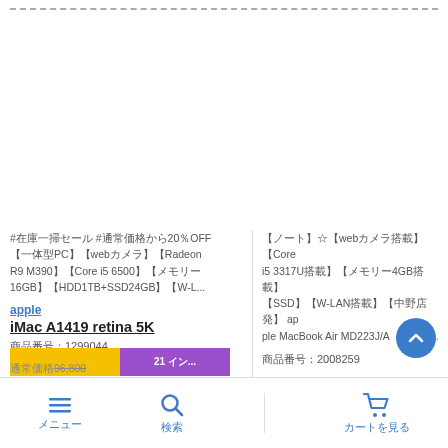#在庫一掃セール #通常価格から20％OFF 【一体型PC】【webカメラ】【Radeon R9 M390】【Core i5 6500】【メモリー16GB】【HDD1TB+SSD24GB】【W-L...
【ノート】☆【webカメラ搭載】【Core i5 3317U搭載】【メモリー4GB搭載】【SSD】【W-LAN搭載】【中野店発】 apple MacBook Air MD223J/A（20082...
apple
iMac A1419 retina 5K
商品番号：1299044
商品番号：2008259
SOLD OUT
通常価格96,800
メニュー　　検索　　カートを見る